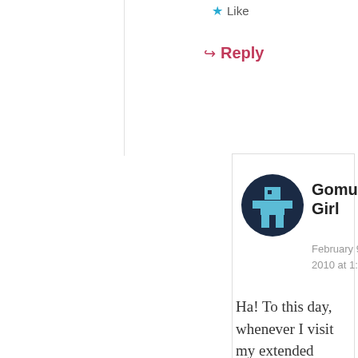★ Like
↳ Reply
[Figure (illustration): Pixel-art avatar of a figure in dark navy circle]
Gomushin Girl
February 9, 2010 at 1:57 pm
Ha! To this day, whenever I visit my extended Korean host family, I'm reminded of the time I asked the